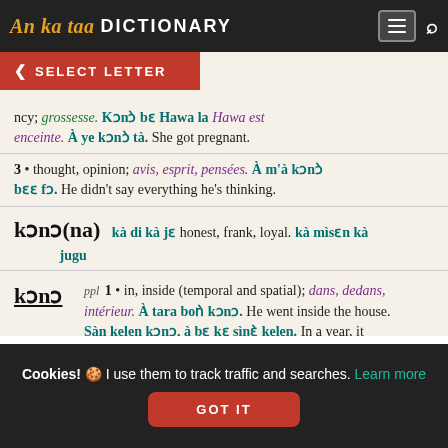An ka taa DICTIONARY
ncy; grossesse. Kɔnɔ̀ bɛ Hawa la Hawa est enceinte. À ye kɔnɔ̀ tà. She got pregnant.
3 • thought, opinion; avis, esprit, pensées. À m'à kɔnɔ̀ bɛɛ fɔ. He didn't say everything he's thinking.
kɔnɔ(na) kà di kà jɛ honest, frank, loyal. kà mìsɛn kà jugu
kɔnɔ ppl 1 • in, inside (temporal and spatial); dans, dedans, intérieur. À tara boǹ kɔnɔ. He went inside the house. Sàn kelen kɔnɔ, à bɛ kɛ sìŋɛ̀ kelen. In a year, it happens one time.
2 • in, inside (with "inside" representing the thoughts, ideas, or memory of the person in question). À bɛ n kɔnɔ ka taa. I am thinking of
Cookies! 🍪 I use them to track traffic and searches. Learn more GOT IT